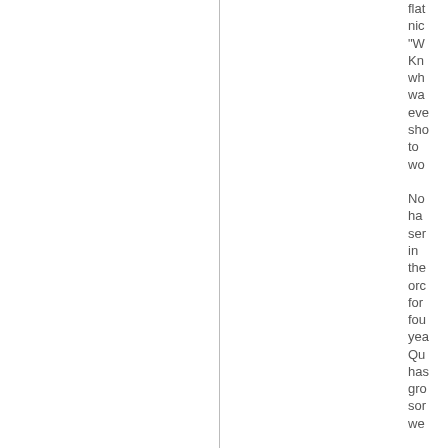flat nic "W Kn wh wa eve sho to wo No ha ser in the orc for fou yea Qu has gro sor we